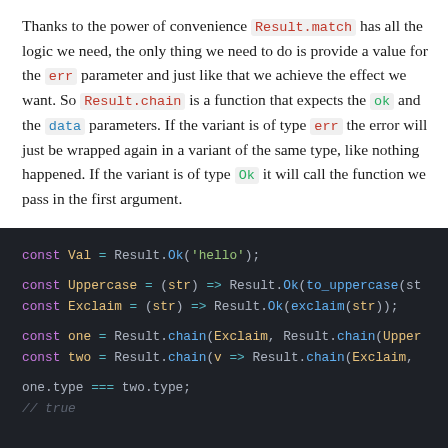Thanks to the power of convenience Result.match has all the logic we need, the only thing we need to do is provide a value for the err parameter and just like that we achieve the effect we want. So Result.chain is a function that expects the ok and the data parameters. If the variant is of type err the error will just be wrapped again in a variant of the same type, like nothing happened. If the variant is of type Ok it will call the function we pass in the first argument.
[Figure (screenshot): Code block on dark background showing JavaScript code with const Val = Result.Ok('hello'); and const Uppercase, Exclaim, one, two variable declarations using Result.chain, ending with one.type === two.type; // true]